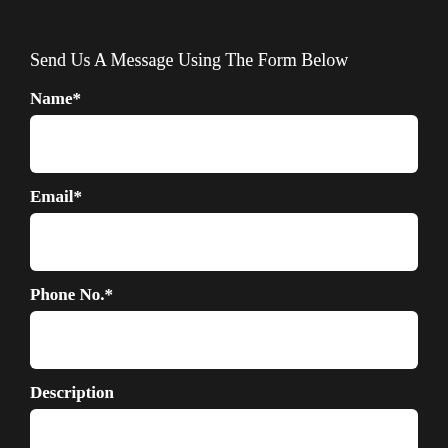Send Us A Message Using The Form Below
Name*
Email*
Phone No.*
Description